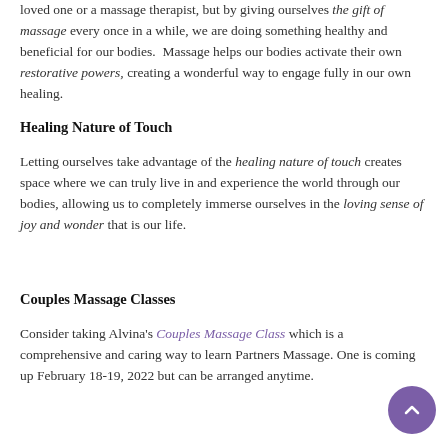loved one or a massage therapist, but by giving ourselves the gift of massage every once in a while, we are doing something healthy and beneficial for our bodies. Massage helps our bodies activate their own restorative powers, creating a wonderful way to engage fully in our own healing.
Healing Nature of Touch
Letting ourselves take advantage of the healing nature of touch creates space where we can truly live in and experience the world through our bodies, allowing us to completely immerse ourselves in the loving sense of joy and wonder that is our life.
Couples Massage Classes
Consider taking Alvina's Couples Massage Class which is a comprehensive and caring way to learn Partners Massage. One is coming up February 18-19, 2022 but can be arranged anytime.